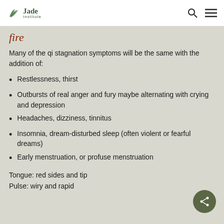Jade Institute
fire
Many of the qi stagnation symptoms will be the same with the addition of:
Restlessness, thirst
Outbursts of real anger and fury maybe alternating with crying and depression
Headaches, dizziness, tinnitus
Insomnia, dream-disturbed sleep (often violent or fearful dreams)
Early menstruation, or profuse menstruation
Tongue: red sides and tip
Pulse: wiry and rapid